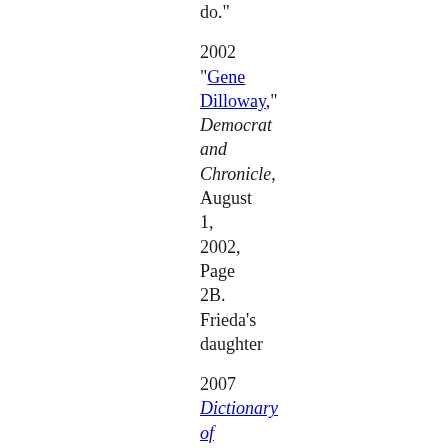do."
2002 "Gene Dilloway," Democrat and Chronicle, August 1, 2002, Page 2B. Frieda's daughter
2007 Dictionary of Women Worldwide 2:1016 Robscheit-Robbins, Frieda (1888